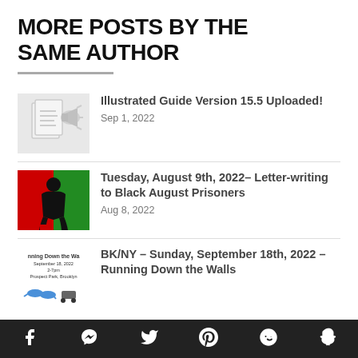MORE POSTS BY THE SAME AUTHOR
Illustrated Guide Version 15.5 Uploaded! — Sep 1, 2022
Tuesday, August 9th, 2022– Letter-writing to Black August Prisoners — Aug 8, 2022
BK/NY – Sunday, September 18th, 2022 – Running Down the Walls
Social media icons: Facebook, Messenger, Twitter, Pinterest, Reddit, Snapchat